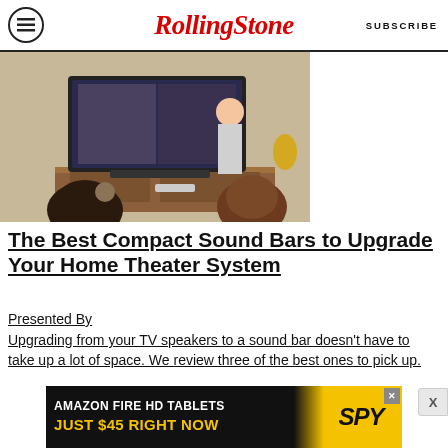RollingStone  SUBSCRIBE
[Figure (photo): Two people sitting on a couch from behind, watching a large flat-screen TV mounted on a wooden media console. A woman stands near the TV pointing at it. A sound bar is visible below the TV.]
The Best Compact Sound Bars to Upgrade Your Home Theater System
Presented By
Upgrading from your TV speakers to a sound bar doesn't have to take up a lot of space. We review three of the best ones to pick up.
[Figure (infographic): Advertisement banner: AMAZON FIRE HD TABLETS JUST $45 RIGHT NOW with SPY logo]